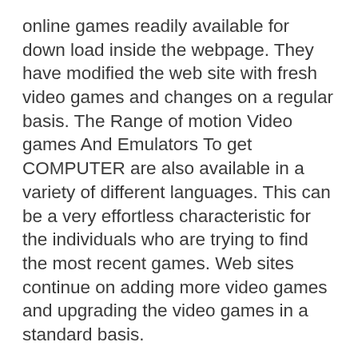online games readily available for down load inside the webpage. They have modified the web site with fresh video games and changes on a regular basis. The Range of motion Video games And Emulators To get COMPUTER are also available in a variety of different languages. This can be a very effortless characteristic for the individuals who are trying to find the most recent games. Web sites continue on adding more video games and upgrading the video games in a standard basis.
Deja un comentario
Although surfing the web, a lot of people would have found a lot of interesting and fascinating data regarding the Perform Roms Internet browser. This can be a new technology that